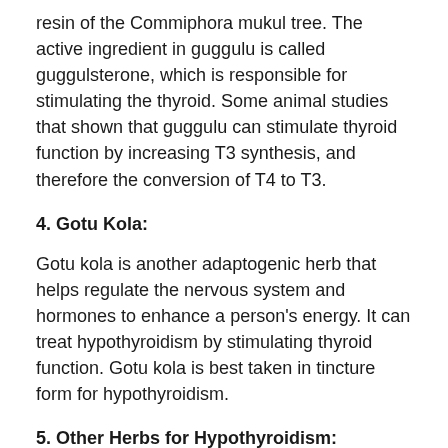resin of the Commiphora mukul tree. The active ingredient in guggulu is called guggulsterone, which is responsible for stimulating the thyroid. Some animal studies that shown that guggulu can stimulate thyroid function by increasing T3 synthesis, and therefore the conversion of T4 to T3.
4. Gotu Kola:
Gotu kola is another adaptogenic herb that helps regulate the nervous system and hormones to enhance a person's energy. It can treat hypothyroidism by stimulating thyroid function. Gotu kola is best taken in tincture form for hypothyroidism.
5. Other Herbs for Hypothyroidism:
Other herbs used for hypothyroidism include goji berries, coleus forskohlii, Siberian ginseng, bayberry, licorice root, rhodiola, holy basil, ginseng, and